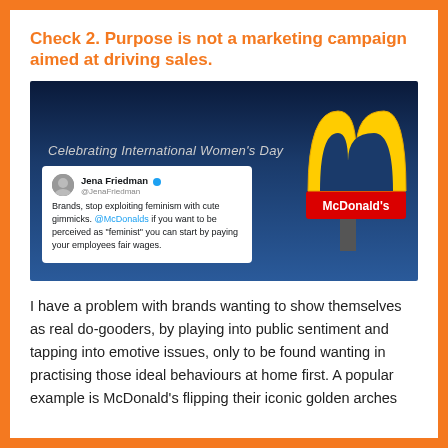Check 2. Purpose is not a marketing campaign aimed at driving sales.
[Figure (photo): McDonald's sign with golden arches flipped upside down to form a 'W' shape, celebrating International Women's Day. A tweet overlay from Jena Friedman reads: 'Brands, stop exploiting feminism with cute gimmicks. @McDonalds if you want to be perceived as "feminist" you can start by paying your employees fair wages.']
I have a problem with brands wanting to show themselves as real do-gooders, by playing into public sentiment and tapping into emotive issues, only to be found wanting in practising those ideal behaviours at home first. A popular example is McDonald's flipping their iconic golden arches